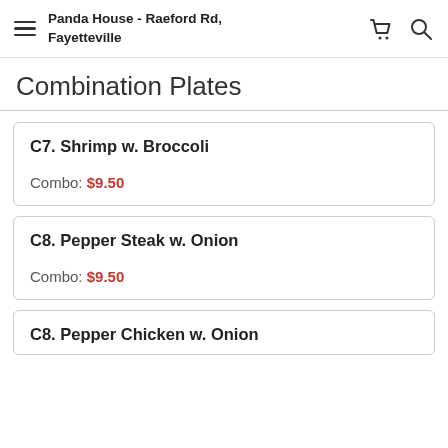Panda House - Raeford Rd, Fayetteville
Combination Plates
C7. Shrimp w. Broccoli
Combo: $9.50
C8. Pepper Steak w. Onion
Combo: $9.50
C8. Pepper Chicken w. Onion